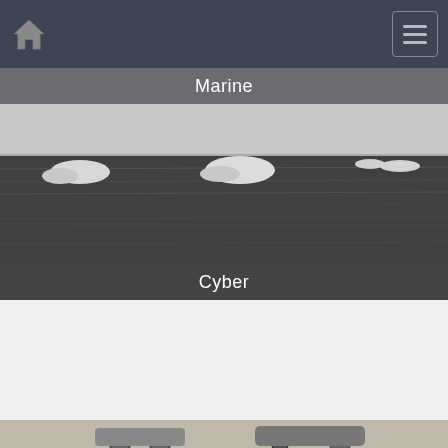[Figure (screenshot): Mobile app navigation bar with home icon on left and hamburger menu icon on right, dark blue-grey background]
Marine
[Figure (photo): Black and white photograph of sea ice or icebergs floating on dark ocean water]
Cyber
[Figure (photo): Black and white abstract image of concentric circular patterns with binary digits, resembling a digital tunnel or vortex]
[Figure (photo): Partial view of a third section image showing illustrated vehicles or machines]